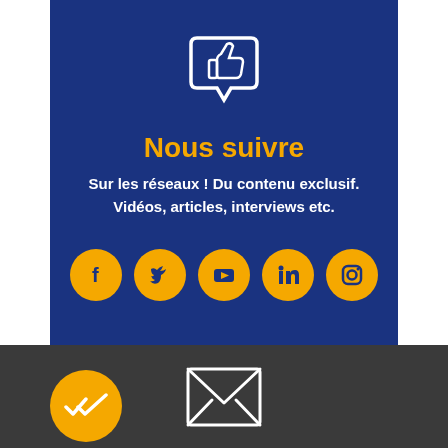[Figure (illustration): White outline icon of a speech bubble with a thumbs-up inside, on dark blue background]
Nous suivre
Sur les réseaux ! Du contenu exclusif. Vidéos, articles, interviews etc.
[Figure (infographic): Five yellow circular social media icons: Facebook, Twitter, YouTube, LinkedIn, Instagram]
[Figure (infographic): Yellow circle with white double-checkmark icon, bottom left corner]
[Figure (illustration): White outline envelope/mail icon on dark grey background]